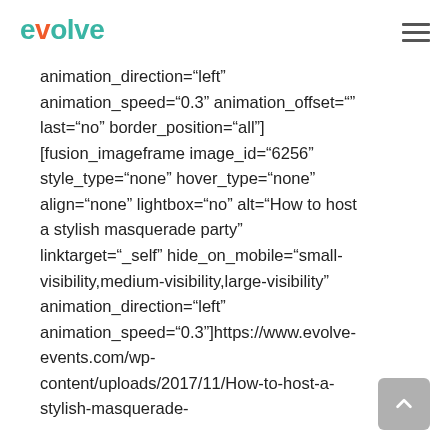evolve
animation_direction="left" animation_speed="0.3" animation_offset="" last="no" border_position="all"] [fusion_imageframe image_id="6256" style_type="none" hover_type="none" align="none" lightbox="no" alt="How to host a stylish masquerade party" linktarget="_self" hide_on_mobile="small-visibility,medium-visibility,large-visibility" animation_direction="left" animation_speed="0.3"]https://www.evolve-events.com/wp-content/uploads/2017/11/How-to-host-a-stylish-masquerade-